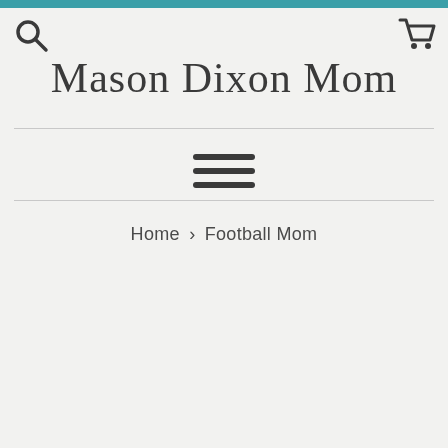Mason Dixon Mom
[Figure (screenshot): Navigation bar with search icon on left and shopping cart icon on right]
[Figure (other): Hamburger menu icon (three horizontal lines)]
Home › Football Mom